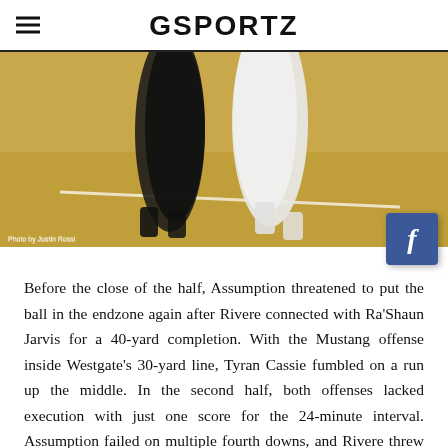GSPORTZ
[Figure (photo): Two football players running on a grass field, one in black uniform and one in white uniform, seen from the waist down showing their legs and cleats.]
Before the close of the half, Assumption threatened to put the ball in the endzone again after Rivere connected with Ra'Shaun Jarvis for a 40-yard completion. With the Mustang offense inside Westgate's 30-yard line, Tyran Cassie fumbled on a run up the middle. In the second half, both offenses lacked execution with just one score for the 24-minute interval. Assumption failed on multiple fourth downs, and Rivere threw an interception via Westgate freshman Derrick Williams. The lone score was a 17-yard TD pass from Landry to Boutte in the back